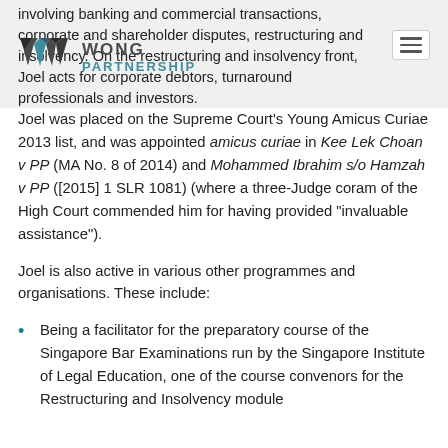involving banking and commercial transactions, corporate and shareholder disputes, restructuring and insolvency. On the restructuring and insolvency front, Joel acts for corporate debtors, turnaround professionals and investors.
Joel was placed on the Supreme Court's Young Amicus Curiae 2013 list, and was appointed amicus curiae in Kee Lek Choan v PP (MA No. 8 of 2014) and Mohammed Ibrahim s/o Hamzah v PP ([2015] 1 SLR 1081) (where a three-Judge coram of the High Court commended him for having provided "invaluable assistance").
Joel is also active in various other programmes and organisations. These include:
Being a facilitator for the preparatory course of the Singapore Bar Examinations run by the Singapore Institute of Legal Education, one of the course convenors for the Restructuring and Insolvency module